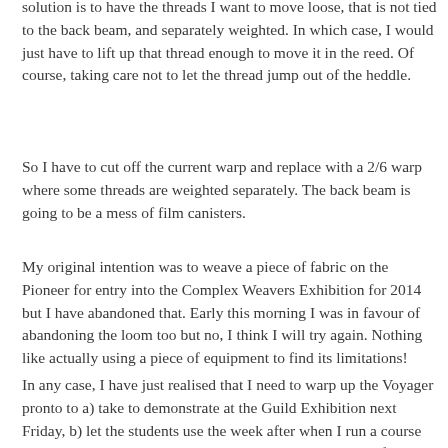solution is to have the threads I want to move loose, that is not tied to the back beam, and separately weighted. In which case, I would just have to lift up that thread enough to move it in the reed. Of course, taking care not to let the thread jump out of the heddle.
So I have to cut off the current warp and replace with a 2/6 warp where some threads are weighted separately. The back beam is going to be a mess of film canisters.
My original intention was to weave a piece of fabric on the Pioneer for entry into the Complex Weavers Exhibition for 2014 but I have abandoned that. Early this morning I was in favour of abandoning the loom too but no, I think I will try again. Nothing like actually using a piece of equipment to find its limitations!
In any case, I have just realised that I need to warp up the Voyager pronto to a) take to demonstrate at the Guild Exhibition next Friday, b) let the students use the week after when I run a course on double weave. The students could be just using a 4 shaft loom and I intend to warp up a warp and waft interchange draft for them all to have a go on. YSo the